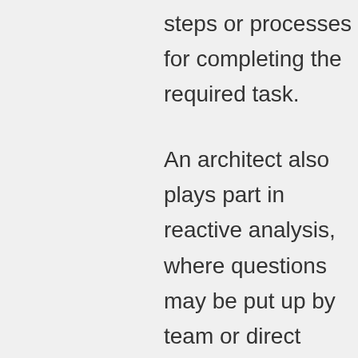steps or processes for completing the required task.
An architect also plays part in reactive analysis, where questions may be put up by team or direct client about the given choice and architect will clarify the decision or reasons behind his or her choice.
For being a good AWS architect,  It is expected that they know the infrastructure part of AWS offerings very well. This includes EC2 instances, VPC, Load Balancers, RDS, No-SQL offerings,